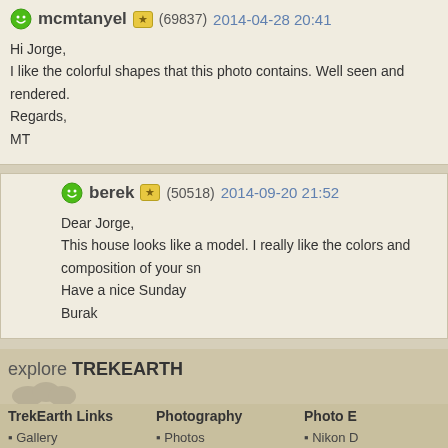mcmtanyel (69837) 2014-04-28 20:41
Hi Jorge,
I like the colorful shapes that this photo contains. Well seen and rendered.
Regards,
MT
berek (50518) 2014-09-20 21:52
Dear Jorge,
This house looks like a model. I really like the colors and composition of your sn...
Have a nice Sunday
Burak
explore TREKEARTH
TrekEarth Links
Gallery
Forums
Members
About
RSS Feeds
Photography
Photos
Critiques
Themes
Categories
Workshops
Photo E...
Nikon D...
Canon ...
Canon ...
Nikon D...
Pana...